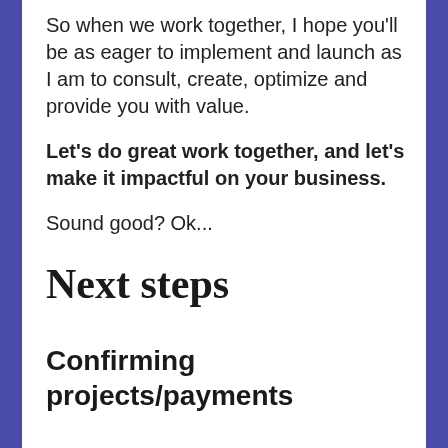So when we work together, I hope you'll be as eager to implement and launch as I am to consult, create, optimize and provide you with value.
Let's do great work together, and let's make it impactful on your business.
Sound good? Ok...
Next steps
Confirming projects/payments